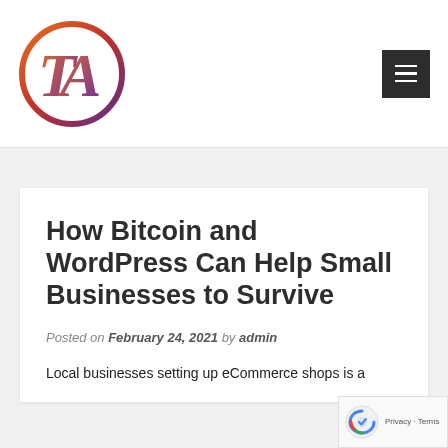[Figure (logo): Circular gradient logo with letters T and A inside, gradient from orange/red to purple/blue]
[Figure (other): Dark grey hamburger menu button with three horizontal white lines]
How Bitcoin and WordPress Can Help Small Businesses to Survive
Posted on February 24, 2021 by admin
Local businesses setting up eCommerce shops is a